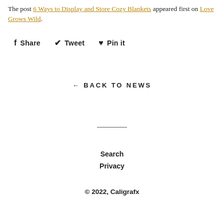The post 6 Ways to Display and Store Cozy Blankets appeared first on Love Grows Wild.
f Share   Tweet   Pin it
← BACK TO NEWS
Search
Privacy
© 2022, Caligrafx